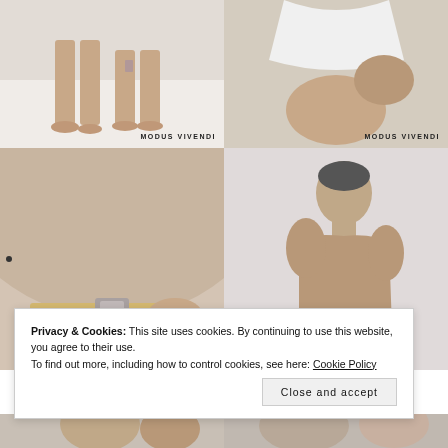[Figure (photo): Two men standing, lower body shot showing legs and feet on white background, with MODUS VIVENDI brand watermark in bottom right]
[Figure (photo): Man in white underwear, close-up of torso/thigh area with MODUS VIVENDI brand watermark]
[Figure (photo): Close-up back view of man wearing nude/skin-tone thong underwear with metallic waistband detail]
[Figure (photo): Side/back view of muscular man wearing nude/gold thong underwear against white background]
Privacy & Cookies: This site uses cookies. By continuing to use this website, you agree to their use.
To find out more, including how to control cookies, see here: Cookie Policy
Close and accept
[Figure (photo): Bottom strip showing partial photos of men in underwear, left and right panels]